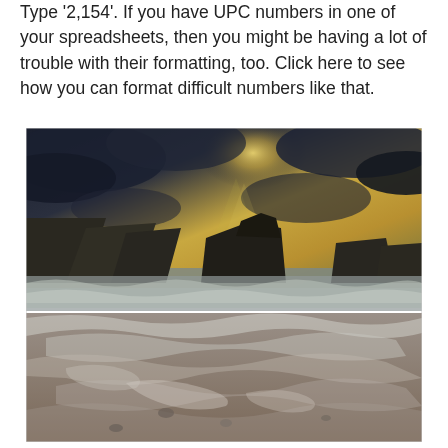Type '2,154'. If you have UPC numbers in one of your spreadsheets, then you might be having a lot of trouble with their formatting, too. Click here to see how you can format difficult numbers like that.
[Figure (photo): Dramatic coastal seascape photograph showing rocky beach with crashing ocean waves, large rock formations in the middle distance, and a moody sky with rays of golden light breaking through dark storm clouds. The foreground shows wet sand and stones with swirling foam patterns from the retreating waves. The image has a dark, dramatic tone with golden-yellow hues in the sky.]